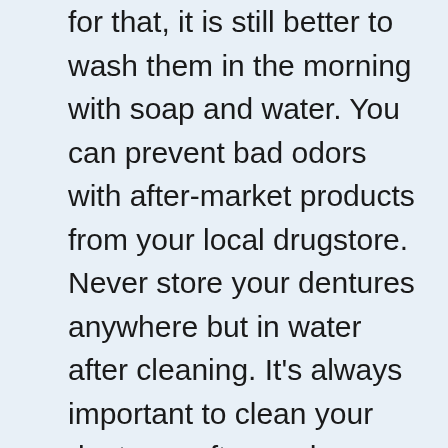for that, it is still better to wash them in the morning with soap and water. You can prevent bad odors with after-market products from your local drugstore. Never store your dentures anywhere but in water after cleaning. It's always important to clean your dentures after each use, but you may also want to consider cleaning them before you go to bed. You may find that giving your dentures a quick clean before storage will help eliminate unpleasant odors from building up over time.
It is important to make sure the dentures are completely submerged, and you would be wise to avoid putting them in your mouth too close to bedtime because this would mean being exposed to moisture overnight. Since your teeth are at risk for staining, it is recommended that you store your